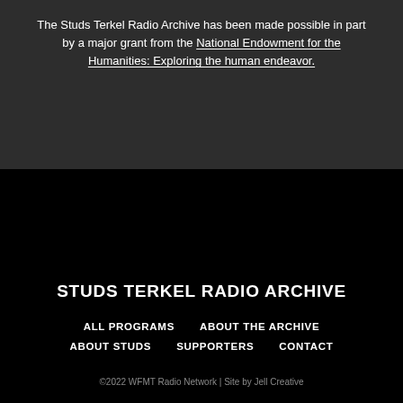The Studs Terkel Radio Archive has been made possible in part by a major grant from the National Endowment for the Humanities: Exploring the human endeavor.
STUDS TERKEL RADIO ARCHIVE
ALL PROGRAMS
ABOUT THE ARCHIVE
ABOUT STUDS
SUPPORTERS
CONTACT
©2022 WFMT Radio Network | Site by Jell Creative